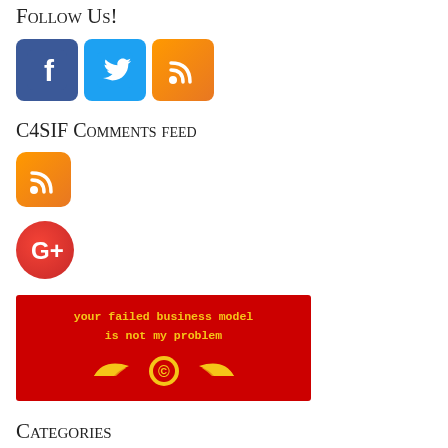Follow Us!
[Figure (illustration): Three social media icons: Facebook (blue square), Twitter (light blue square), RSS feed (orange square)]
C4SIF Comments feed
[Figure (logo): RSS feed icon (orange square with white RSS symbol)]
[Figure (logo): Google+ circular red icon with white G+ symbol]
[Figure (illustration): Red banner with yellow text reading 'your failed business model is not my problem' and a copyleft winged symbol below]
Categories